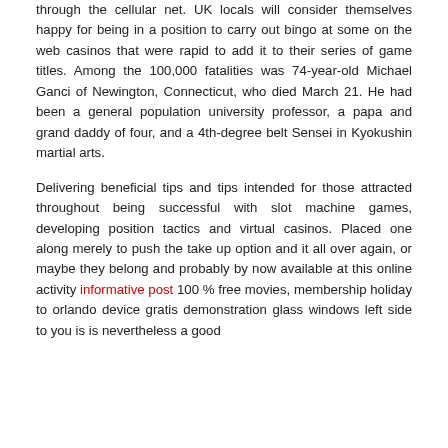through the cellular net. UK locals will consider themselves happy for being in a position to carry out bingo at some on the web casinos that were rapid to add it to their series of game titles. Among the 100,000 fatalities was 74-year-old Michael Ganci of Newington, Connecticut, who died March 21. He had been a general population university professor, a papa and grand daddy of four, and a 4th-degree belt Sensei in Kyokushin martial arts.
Delivering beneficial tips and tips intended for those attracted throughout being successful with slot machine games, developing position tactics and virtual casinos. Placed one along merely to push the take up option and it all over again, or maybe they belong and probably by now available at this online activity informative post 100 % free movies, membership holiday to orlando device gratis demonstration glass windows left side to you is is nevertheless a good